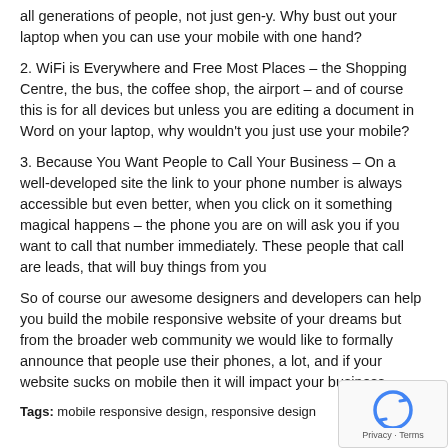all generations of people, not just gen-y. Why bust out your laptop when you can use your mobile with one hand?
2. WiFi is Everywhere and Free Most Places – the Shopping Centre, the bus, the coffee shop, the airport – and of course this is for all devices but unless you are editing a document in Word on your laptop, why wouldn't you just use your mobile?
3. Because You Want People to Call Your Business – On a well-developed site the link to your phone number is always accessible but even better, when you click on it something magical happens – the phone you are on will ask you if you want to call that number immediately. These people that call are leads, that will buy things from you
So of course our awesome designers and developers can help you build the mobile responsive website of your dreams but from the broader web community we would like to formally announce that people use their phones, a lot, and if your website sucks on mobile then it will impact your business.
Tags: mobile responsive design, responsive design
[Figure (logo): reCAPTCHA logo with Privacy and Terms text]